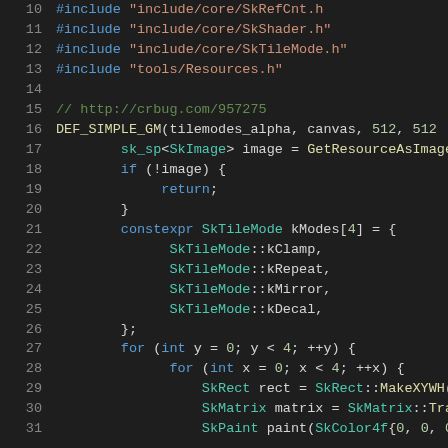[Figure (screenshot): Source code editor showing C++ code for a Skia graphics library GM test, lines 10-31, dark theme editor background with syntax highlighting. Lines include #include directives, DEF_SIMPLE_GM macro, image loading, SkTileMode array, and for loops.]